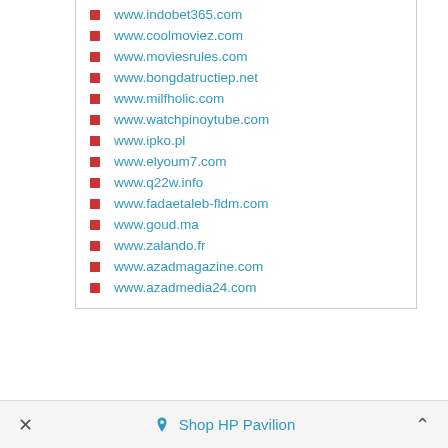www.indobet365.com
www.coolmoviez.com
www.moviesrules.com
www.bongdatructiep.net
www.milfholic.com
www.watchpinoytube.com
www.ipko.pl
www.elyoum7.com
www.q22w.info
www.fadaetaleb-fldm.com
www.goud.ma
www.zalando.fr
www.azadmagazine.com
www.azadmedia24.com
Shop HP Pavilion